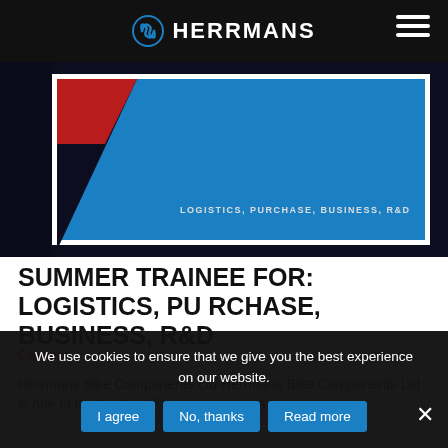HERRMANS
[Figure (photo): Hero banner image for Herrmans job posting showing blue geometric design with text 'LOGISTICS, PURCHASE, BUSINESS, R&D']
SUMMER TRAINEE FOR: LOGISTICS, PURCHASE, BUSINESS, R&D
Careers
Herrmans Bike Components Ltd Herrmans Bike Components Ltd is one of the leading European pioneers
We use cookies to ensure that we give you the best experience on our website.